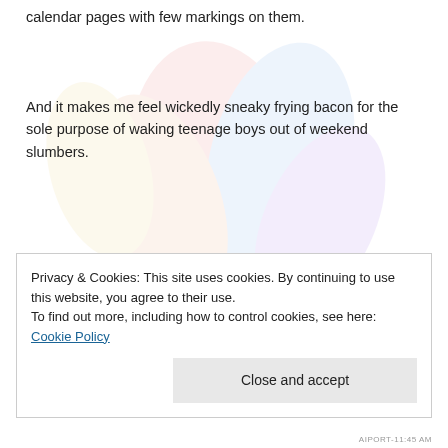calendar pages with few markings on them.
And it makes me feel wickedly sneaky frying bacon for the sole purpose of waking teenage boys out of weekend slumbers.
And it makes me acutely aware that small moments are very, very good.
Privacy & Cookies: This site uses cookies. By continuing to use this website, you agree to their use.
To find out more, including how to control cookies, see here: Cookie Policy
AIPORT-11:45 AM